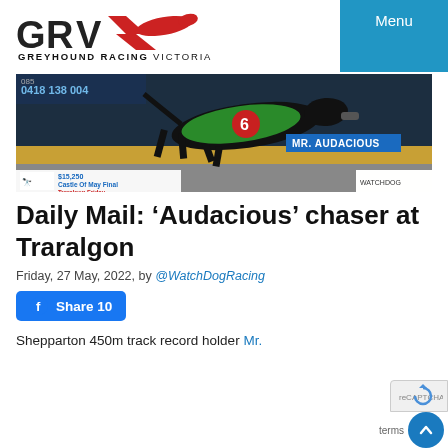[Figure (logo): GRV Greyhound Racing Victoria logo with red greyhound silhouette and blue/dark text]
Menu
[Figure (photo): A black greyhound wearing a green racing jacket with number 6 and the label MR. AUDACIOUS, running on a track. Banner shows $15,250 Castle Of May Final, Traralgon Friday Race 6, 8.49pm. WatchDog logo visible.]
Daily Mail: ‘Audacious’ chaser at Traralgon
Friday, 27 May, 2022, by @WatchDogRacing
Share 10
Shepparton 450m track record holder Mr.